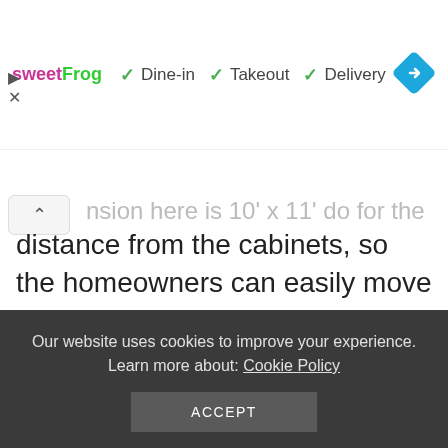[Figure (screenshot): sweetFrog logo with Dine-in, Takeout, Delivery service options with green checkmarks, and a blue navigation diamond icon]
...nsion here is 10' x 11' do for the distance from the cabinets, so the homeowners can easily move around here. The island itself is small in a square shaped.
Both island and cabinetry seem to be painted with White Fur WF610 by Behr. The
Our website uses cookies to improve your experience. Learn more about: Cookie Policy
ACCEPT